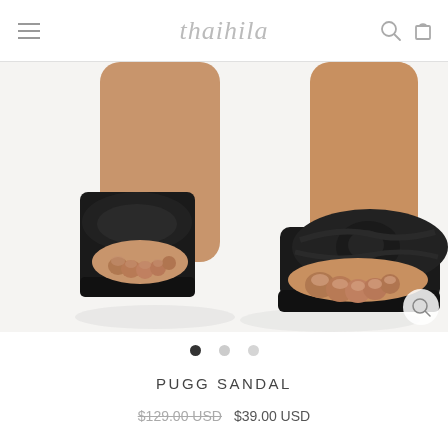thaihilo
[Figure (photo): Close-up photo of two black padded sandals/slides being worn on feet, shown from above against a light background. The sandals have a thick knotted strap across the toe and a chunky black sole.]
PUGG SANDAL
$129.00 USD  $39.00 USD